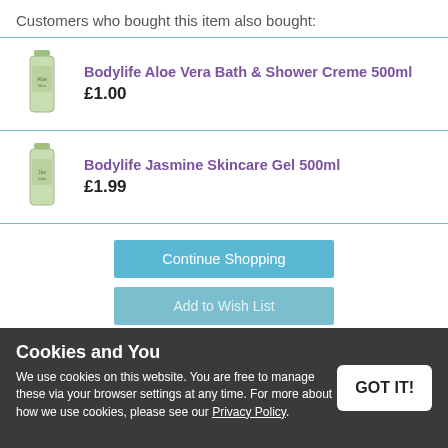Customers who bought this item also bought:
Bodylife Aloe Vera Bath & Shower Creme 500ml
£1.00
Bodylife Jasmine Skincare Gel 500ml
£1.99
Continue Shopping
Add to Wish List
Tell a Friend
Cookies and You
We use cookies on this website. You are free to manage these via your browser settings at any time. For more about how we use cookies, please see our Privacy Policy.
GOT IT!
Related Products